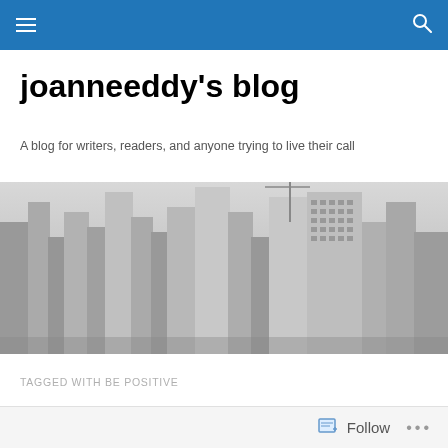joanneeddy's blog — navigation bar with hamburger menu and search icon
joanneeddy's blog
A blog for writers, readers, and anyone trying to live their call
[Figure (photo): Black and white aerial cityscape photograph showing tall city skyscrapers and buildings from above]
TAGGED WITH BE POSITIVE
Follow ...